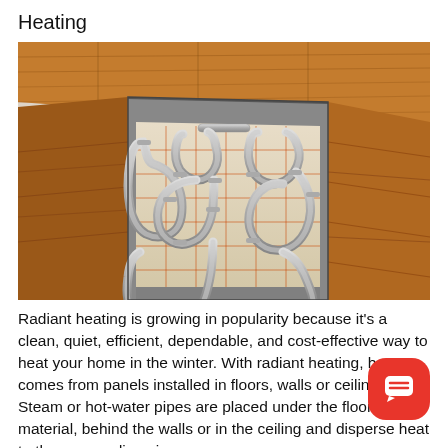Heating
[Figure (illustration): 3D cutaway illustration showing radiant floor heating system with looping pipes/tubes beneath a wooden floor surface, revealing the pipe network embedded in a concrete or foam substrate beneath hardwood planks.]
Radiant heating is growing in popularity because it's a clean, quiet, efficient, dependable, and cost-effective way to heat your home in the winter. With radiant heating, heat comes from panels installed in floors, walls or ceilings. Steam or hot-water pipes are placed under the floor material, behind the walls or in the ceiling and disperse heat to the surrounding air.